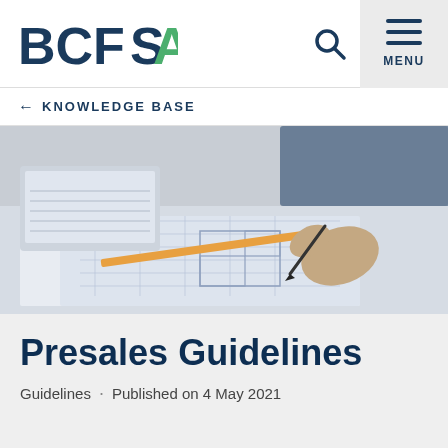[Figure (logo): BCFSA logo with blue letters BCF and S, green letter A]
[Figure (screenshot): Search icon (magnifying glass) in header]
[Figure (screenshot): Menu icon (three horizontal bars) with MENU label on gray background]
← KNOWLEDGE BASE
[Figure (photo): Person's hand holding a pen writing on architectural blueprints/floor plans, with a pencil and laptop visible in background]
Presales Guidelines
Guidelines · Published on 4 May 2021